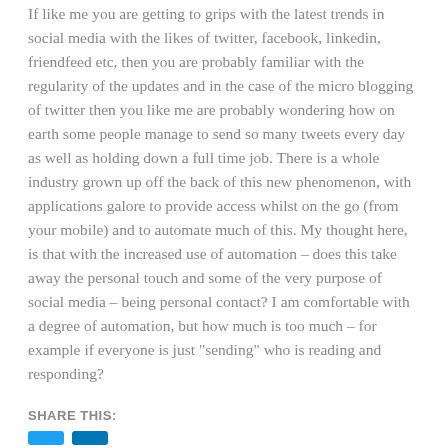If like me you are getting to grips with the latest trends in social media with the likes of twitter, facebook, linkedin, friendfeed etc, then you are probably familiar with the regularity of the updates and in the case of the micro blogging of twitter then you like me are probably wondering how on earth some people manage to send so many tweets every day as well as holding down a full time job. There is a whole industry grown up off the back of this new phenomenon, with applications galore to provide access whilst on the go (from your mobile) and to automate much of this. My thought here, is that with the increased use of automation – does this take away the personal touch and some of the very purpose of social media – being personal contact? I am comfortable with a degree of automation, but how much is too much – for example if everyone is just "sending" who is reading and responding?
SHARE THIS: